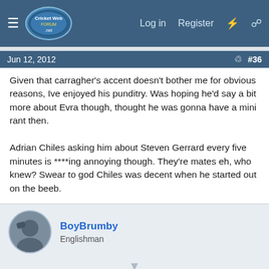CricketWeb | Log in | Register
Jun 12, 2012 #36
Given that carragher's accent doesn't bother me for obvious reasons, Ive enjoyed his punditry. Was hoping he'd say a bit more about Evra though, thought he was gonna have a mini rant then.

Adrian Chiles asking him about Steven Gerrard every five minutes is ****ing annoying though. They're mates eh, who knew? Swear to god Chiles was decent when he started out on the beeb.
BoyBrumby
Englishman
Jun 12, 2012 #37
CIM|_epid: